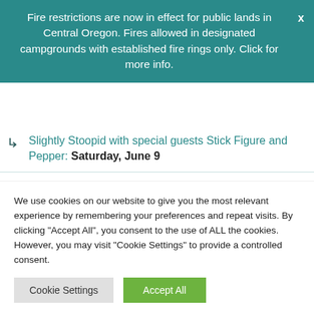Fire restrictions are now in effect for public lands in Central Oregon. Fires allowed in designated campgrounds with established fire rings only. Click for more info.
Slightly Stoopid with special guests Stick Figure and Pepper: Saturday, June 9
Michael Franti & Spearhead: Tuesday, June 19
Primus and Mastodon with special guests Illudium: Saturday, June 23
We use cookies on our website to give you the most relevant experience by remembering your preferences and repeat visits. By clicking "Accept All", you consent to the use of ALL the cookies. However, you may visit "Cookie Settings" to provide a controlled consent.